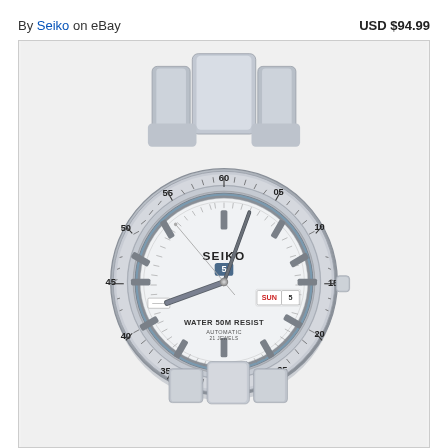By Seiko on eBay
USD $94.99
[Figure (photo): Seiko 5 automatic watch with silver stainless steel bracelet and case, white dial showing SEIKO logo, day-date window (SUN/5), WATER 50M RESIST AUTOMATIC 21 JEWELS text, rotating bezel with minute markings (5,10,15,20,25,30,35,40,45,50,55,60), hour markers and hands in silver/gray.]